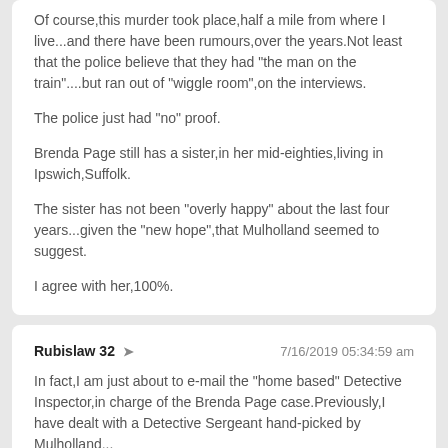Of course,this murder took place,half a mile from where I live...and there have been rumours,over the years.Not least that the police believe that they had "the man on the train"....but ran out of "wiggle room",on the interviews.
The police just had "no" proof.
Brenda Page still has a sister,in her mid-eighties,living in Ipswich,Suffolk.
The sister has not been "overly happy" about the last four years...given the "new hope",that Mulholland seemed to suggest.
I agree with her,100%.
Rubislaw 32 ➤    7/16/2019 05:34:59 am
In fact,I am just about to e-mail the "home based" Detective Inspector,in charge of the Brenda Page case.Previously,I have dealt with a Detective Sergeant hand-picked by Mulholland...